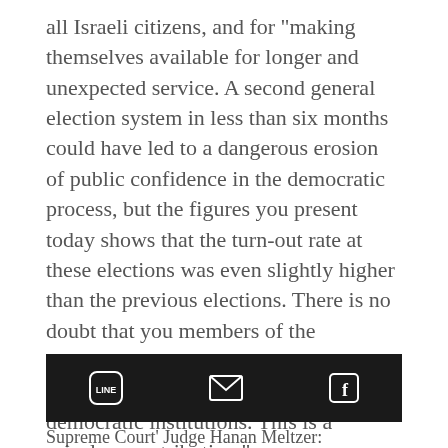all Israeli citizens, and for "making themselves available for longer and unexpected service. A second general election system in less than six months could have led to a dangerous erosion of public confidence in the democratic process, but the figures you present today shows that the turn-out rate at these elections was even slightly higher than the previous elections. There is no doubt that you members of the committee play a key role in maintaining public confidence in our democratic institutions. This is a priceless contribution."
[Figure (screenshot): Dark social sharing bar with LINE, email, and Facebook icons]
Supreme Court' Judge Hanan Meltzer: